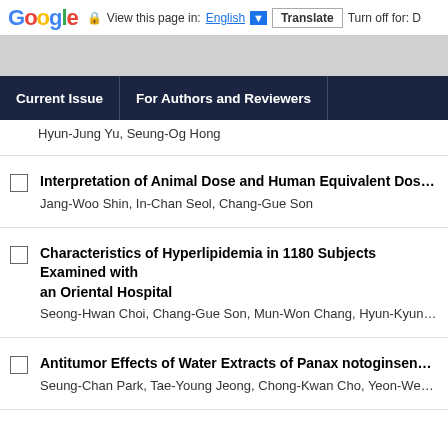Google | View this page in: English | Translate | Turn off for: D
Hyun-Jung Yu, Seung-Og Hong
Interpretation of Animal Dose and Human Equivalent Dose for Dru... | Jang-Woo Shin, In-Chan Seol, Chang-Gue Son
Characteristics of Hyperlipidemia in 1180 Subjects Examined with an Oriental Hospital | Seong-Hwan Choi, Chang-Gue Son, Mun-Won Chang, Hyun-Kyung C...
Antitumor Effects of Water Extracts of Panax notoginseng on NCI... | Seung-Chan Park, Tae-Young Jeong, Chong-Kwan Cho, Yeon-Weol L...